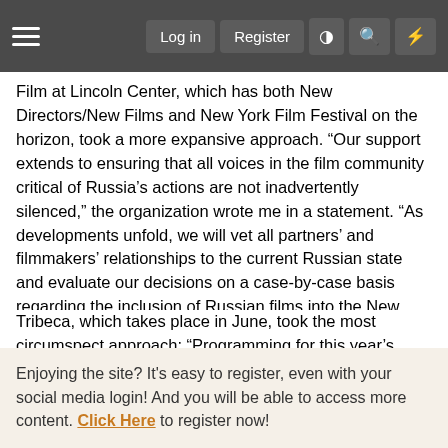Log in  Register
Film at Lincoln Center, which has both New Directors/New Films and New York Film Festival on the horizon, took a more expansive approach. “Our support extends to ensuring that all voices in the film community critical of Russia’s actions are not inadvertently silenced,” the organization wrote me in a statement. “As developments unfold, we will vet all partners’ and filmmakers’ relationships to the current Russian state and evaluate our decisions on a case-by-case basis regarding the inclusion of Russian films into the New York Film Festival and Film at Lincoln Center’s year-long programming.”
Tribeca, which takes place in June, took the most circumspect approach: “Programming for this year’s festival is still open,” festival director and VP programming Cara Cusumato wrote me, “but as of right now, there are no Russian projects. At Tribeca,
Enjoying the site? It's easy to register, even with your social media login! And you will be able to access more content. Click Here to register now!